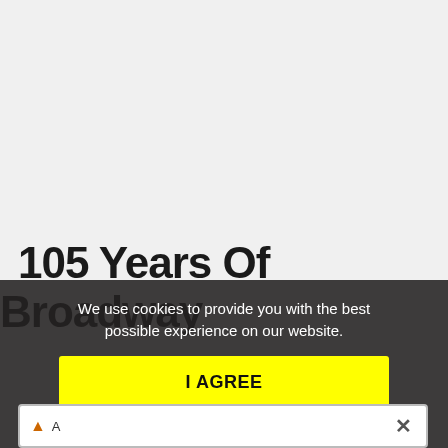105 Years Of Broadway
We use cookies to provide you with the best possible experience on our website.
I AGREE